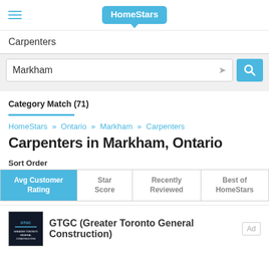[Figure (logo): HomeStars logo in blue speech bubble]
Carpenters
Markham
Category Match (71)
HomeStars » Ontario » Markham » Carpenters
Carpenters in Markham, Ontario
Sort Order
| Avg Customer Rating | Star Score | Recently Reviewed | Best of HomeStars |
| --- | --- | --- | --- |
GTGC (Greater Toronto General Construction)